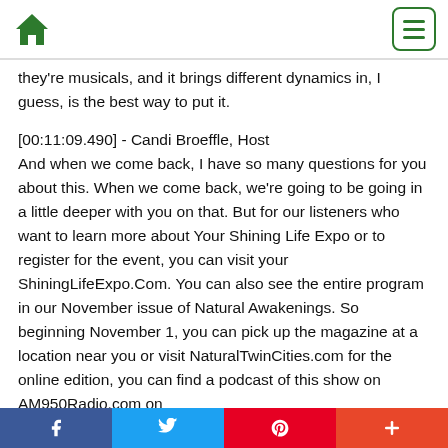Home | Menu
they're musicals, and it brings different dynamics in, I guess, is the best way to put it.
[00:11:09.490] - Candi Broeffle, Host
And when we come back, I have so many questions for you about this. When we come back, we're going to be going in a little deeper with you on that. But for our listeners who want to learn more about Your Shining Life Expo or to register for the event, you can visit your ShiningLifeExpo.Com. You can also see the entire program in our November issue of Natural Awakenings. So beginning November 1, you can pick up the magazine at a location near you or visit NaturalTwinCities.com for the online edition, you can find a podcast of this show on AM950Radio.com on
Facebook | Twitter | Pinterest | Plus